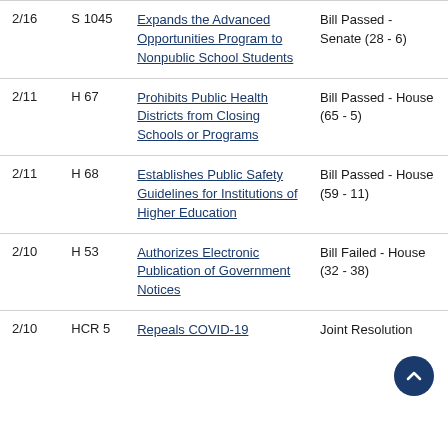| Date | Bill | Title | Status |
| --- | --- | --- | --- |
| 2/16 | S 1045 | Expands the Advanced Opportunities Program to Nonpublic School Students | Bill Passed - Senate (28 - 6) |
| 2/11 | H 67 | Prohibits Public Health Districts from Closing Schools or Programs | Bill Passed - House (65 - 5) |
| 2/11 | H 68 | Establishes Public Safety Guidelines for Institutions of Higher Education | Bill Passed - House (59 - 11) |
| 2/10 | H 53 | Authorizes Electronic Publication of Government Notices | Bill Failed - House (32 - 38) |
| 2/10 | HCR 5 | Repeals COVID-19 | Joint Resolution |